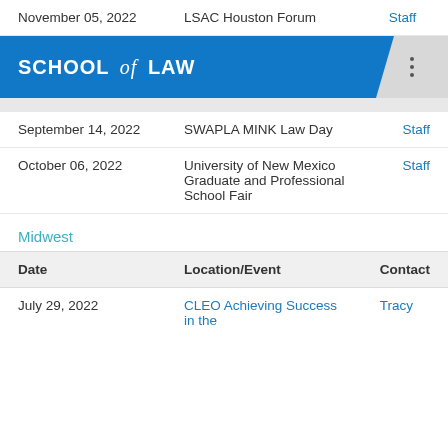| Date | Location/Event | Contact |
| --- | --- | --- |
| November 05, 2022 | LSAC Houston Forum | Staff |
[Figure (logo): School of Law banner logo with blue background]
| Date | Location/Event | Contact |
| --- | --- | --- |
| September 14, 2022 | SWAPLA MINK Law Day | Staff |
| October 06, 2022 | University of New Mexico Graduate and Professional School Fair | Staff |
Midwest
| Date | Location/Event | Contact |
| --- | --- | --- |
| July 29, 2022 | CLEO Achieving Success in the | Tracy |